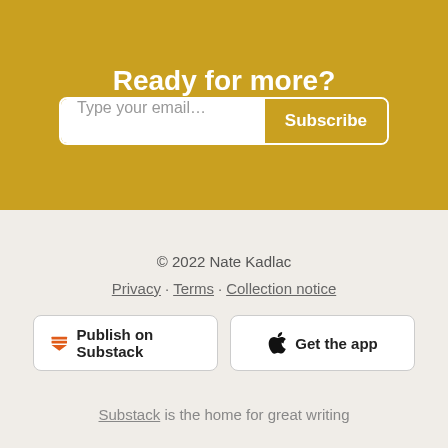Ready for more?
[Figure (other): Email subscribe form with text input 'Type your email...' and a Subscribe button]
© 2022 Nate Kadlac
Privacy · Terms · Collection notice
[Figure (other): Two buttons: 'Publish on Substack' with Substack icon, and 'Get the app' with Apple icon]
Substack is the home for great writing